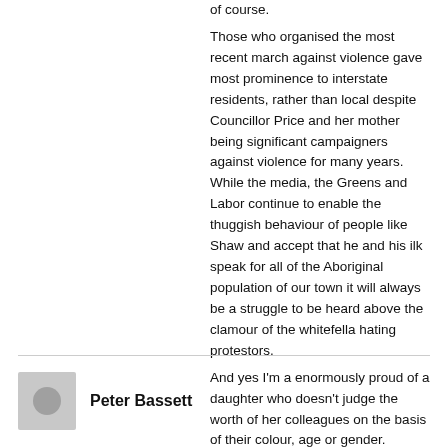of course.
Those who organised the most recent march against violence gave most prominence to interstate residents, rather than local despite Councillor Price and her mother being significant campaigners against violence for many years. While the media, the Greens and Labor continue to enable the thuggish behaviour of people like Shaw and accept that he and his ilk speak for all of the Aboriginal population of our town it will always be a struggle to be heard above the clamour of the whitefella hating protestors.
And yes I'm a enormously proud of a daughter who doesn't judge the worth of her colleagues on the basis of their colour, age or gender.
Peter Bassett